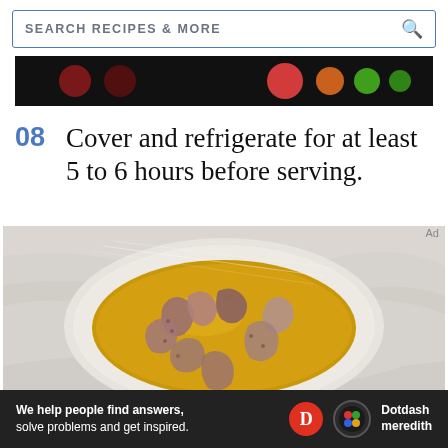SEARCH RECIPES & MORE
[Figure (photo): Dark advertisement banner with colorful dots (red, orange, green) on black background]
08  Cover and refrigerate for at least 5 to 6 hours before serving.
[Figure (photo): Top-down photo of a white bowl filled with octopus pieces in a golden broth/marinade, covered with plastic wrap, on a marble surface]
Ad
[Figure (photo): Dotdash Meredith advertisement banner: We help people find answers, solve problems and get inspired. D logo and Dotdash meredith logo on dark background]